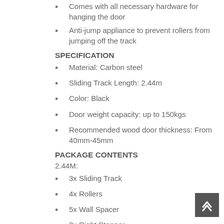Comes with all necessary hardware for hanging the door
Anti-jump appliance to prevent rollers from jumping off the track
SPECIFICATION
Material: Carbon steel
Sliding Track Length:  2.44m
Color: Black
Door weight capacity: up to 150kgs
Recommended wood door thickness: From 40mm-45mm
PACKAGE CONTENTS
2.44M:
3x Sliding Track
4x Rollers
5x Wall Spacer
2x Right Stopper
2x Left Stopper
4x Anti-jump Disks
2x Internal Floor-Mounted Door